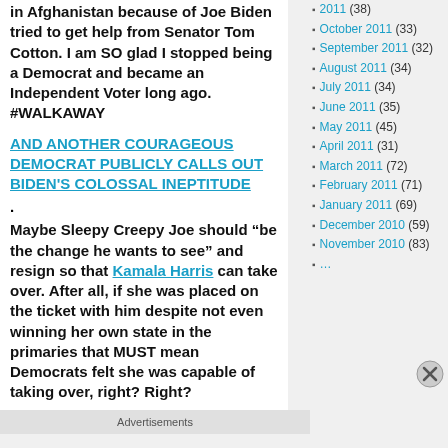in Afghanistan because of Joe Biden tried to get help from Senator Tom Cotton. I am SO glad I stopped being a Democrat and became an Independent Voter long ago. #WALKAWAY
AND ANOTHER COURAGEOUS DEMOCRAT PUBLICLY CALLS OUT BIDEN'S COLOSSAL INEPTITUDE. Maybe Sleepy Creepy Joe should “be the change he wants to see” and resign so that Kamala Harris can take over. After all, if she was placed on the ticket with him despite not even winning her own state in the primaries that MUST mean Democrats felt she was capable of taking over, right? Right?
2011 (38)
October 2011 (33)
September 2011 (32)
August 2011 (34)
July 2011 (34)
June 2011 (35)
May 2011 (45)
April 2011 (31)
March 2011 (72)
February 2011 (71)
January 2011 (69)
December 2010 (59)
November 2010 (83)
Advertisements